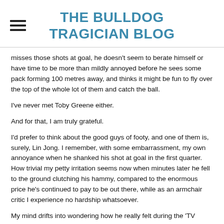THE BULLDOG TRAGICIAN BLOG
misses those shots at goal, he doesn't seem to berate himself or have time to be more than mildly annoyed before he sees some pack forming 100 metres away, and thinks it might be fun to fly over the top of the whole lot of them and catch the ball.
I've never met Toby Greene either.
And for that, I am truly grateful.
I'd prefer to think about the good guys of footy, and one of them is, surely, Lin Jong. I remember, with some embarrassment, my own annoyance when he shanked his shot at goal in the first quarter. How trivial my petty irritation seems now when minutes later he fell to the ground clutching his hammy, compared to the enormous price he's continued to pay to be out there, while as an armchair critic I experience no hardship whatsoever.
My mind drifts into wondering how he really felt during the 'TV moment' when his team-mates insisted on bringing him into the circle to sing the song. Did he feel surrounded by warmth and care, or was his brave smile just for